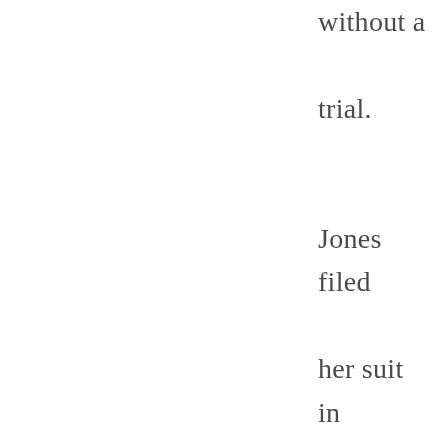without a trial. Jones filed her suit in May 1994, accusing Clinton of luring her to a suite at the Excelsior